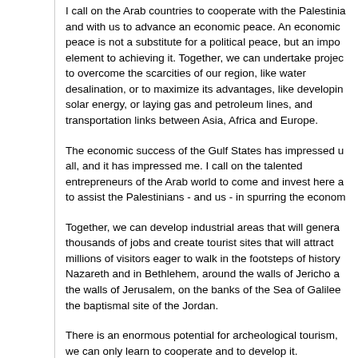I call on the Arab countries to cooperate with the Palestinian and with us to advance an economic peace. An economic peace is not a substitute for a political peace, but an important element to achieving it. Together, we can undertake projects to overcome the scarcities of our region, like water desalination, or to maximize its advantages, like developing solar energy, or laying gas and petroleum lines, and transportation links between Asia, Africa and Europe.
The economic success of the Gulf States has impressed us all, and it has impressed me. I call on the talented entrepreneurs of the Arab world to come and invest here and to assist the Palestinians - and us - in spurring the economic
Together, we can develop industrial areas that will generate thousands of jobs and create tourist sites that will attract millions of visitors eager to walk in the footsteps of history in Nazareth and in Bethlehem, around the walls of Jericho and the walls of Jerusalem, on the banks of the Sea of Galilee and the baptismal site of the Jordan.
There is an enormous potential for archeological tourism, if we can only learn to cooperate and to develop it.
I turn to you, our Palestinian neighbors, led by the Palestinian Authority, and I say: Let's begin negotiations immediately without preconditions.